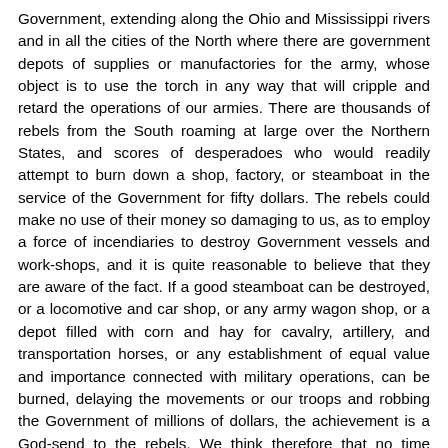Government, extending along the Ohio and Mississippi rivers and in all the cities of the North where there are government depots of supplies or manufactories for the army, whose object is to use the torch in any way that will cripple and retard the operations of our armies. There are thousands of rebels from the South roaming at large over the Northern States, and scores of desperadoes who would readily attempt to burn down a shop, factory, or steamboat in the service of the Government for fifty dollars. The rebels could make no use of their money so damaging to us, as to employ a force of incendiaries to destroy Government vessels and work-shops, and it is quite reasonable to believe that they are aware of the fact. If a good steamboat can be destroyed, or a locomotive and car shop, or any army wagon shop, or a depot filled with corn and hay for cavalry, artillery, and transportation horses, or any establishment of equal value and importance connected with military operations, can be burned, delaying the movements or our troops and robbing the Government of millions of dollars, the achievement is a God-send to the rebels. We think therefore that no time should be lost in placing a strong and thorough guard at every place where there is reason to apprehend the